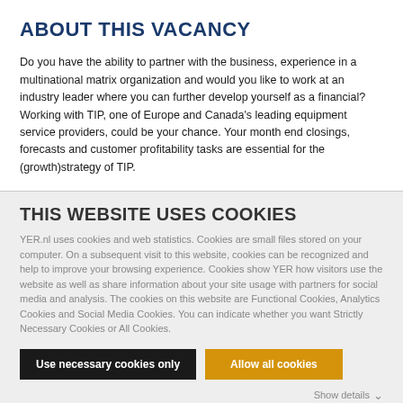ABOUT THIS VACANCY
Do you have the ability to partner with the business, experience in a multinational matrix organization and would you like to work at an industry leader where you can further develop yourself as a financial? Working with TIP, one of Europe and Canada's leading equipment service providers, could be your chance. Your month end closings, forecasts and customer profitability tasks are essential for the (growth)strategy of TIP.
THIS WEBSITE USES COOKIES
YER.nl uses cookies and web statistics. Cookies are small files stored on your computer. On a subsequent visit to this website, cookies can be recognized and help to improve your browsing experience. Cookies show YER how visitors use the website as well as share information about your site usage with partners for social media and analysis. The cookies on this website are Functional Cookies, Analytics Cookies and Social Media Cookies. You can indicate whether you want Strictly Necessary Cookies or All Cookies.
Use necessary cookies only
Allow all cookies
Show details